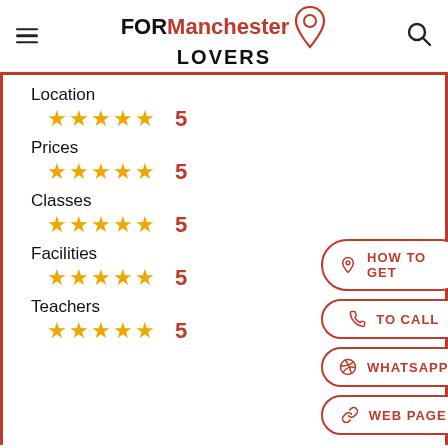FOR Manchester LOVERS
Location
★★★★★ 5
Prices
★★★★★ 5
Classes
★★★★★ 5
Facilities
★★★★★ 5
Teachers
★★★★★ 5
HOW TO GET
TO CALL
WHATSAPP
WEB PAGE